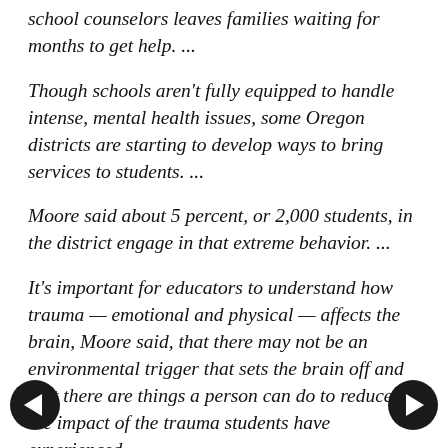school counselors leaves families waiting for months to get help. ...
Though schools aren't fully equipped to handle intense, mental health issues, some Oregon districts are starting to develop ways to bring services to students. ...
Moore said about 5 percent, or 2,000 students, in the district engage in that extreme behavior. ...
It's important for educators to understand how trauma — emotional and physical — affects the brain, Moore said, that there may not be an environmental trigger that sets the brain off and that there are things a person can do to reduce the impact of the trauma students have experienced.